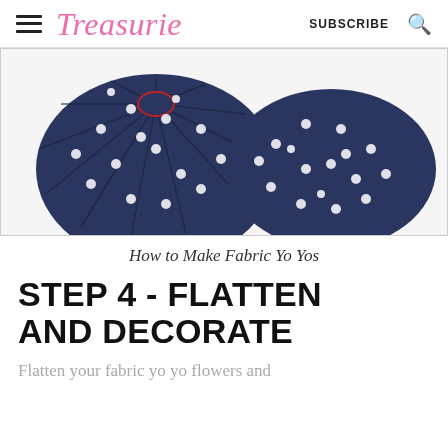Treasurie  SUBSCRIBE
[Figure (photo): Two navy blue polka dot fabric yo yos side by side — left one gathered/pleated showing the center, right one flat and smooth]
How to Make Fabric Yo Yos
STEP 4 - FLATTEN AND DECORATE
Flatten your fabric yo yo flowers and